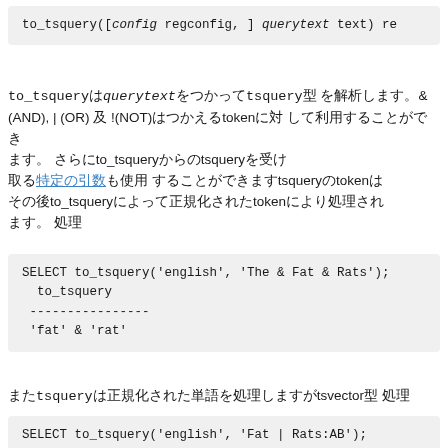to_tsquery([config regconfig, ] querytext text) re
to_tsquery querytext tsquery & (AND), | (OR) ! (NOT) token to_tsquery tsquery tsquery token to_tsquery token
SELECT to_tsquery('english', 'The & Fat & Rats');
  to_tsquery
----------------
 'fat' & 'rat'
tsquery tsvector
SELECT to_tsquery('english', 'Fat | Rats:AB');